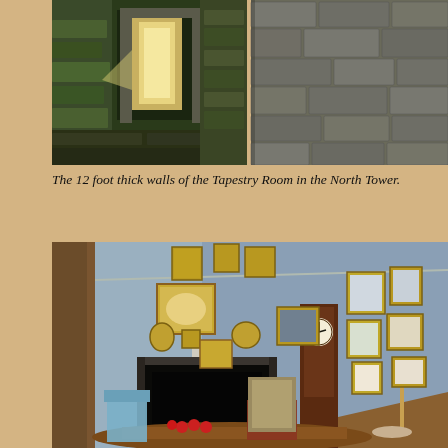[Figure (photo): Two side-by-side photographs of thick stone walls. Left photo shows a narrow opening/window with light streaming through massive stone walls covered in moss. Right photo shows up-close rough-cut stone masonry blocks forming a thick wall.]
The 12 foot thick walls of the Tapestry Room in the North Tower.
[Figure (photo): Interior room photograph showing a room with light blue walls covered in many framed paintings and portraits arranged gallery-style. There is a dark marble fireplace, a tall grandfather clock in dark wood, upholstered chairs, a wooden table with fruit, a decorative screen, and candelabras. The room appears to be a historic castle or stately home interior.]